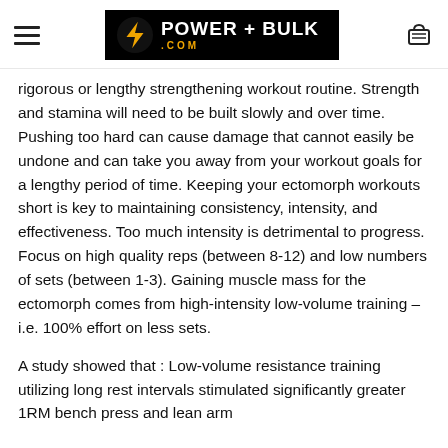POWER + BULK .COM
rigorous or lengthy strengthening workout routine. Strength and stamina will need to be built slowly and over time. Pushing too hard can cause damage that cannot easily be undone and can take you away from your workout goals for a lengthy period of time. Keeping your ectomorph workouts short is key to maintaining consistency, intensity, and effectiveness. Too much intensity is detrimental to progress. Focus on high quality reps (between 8-12) and low numbers of sets (between 1-3). Gaining muscle mass for the ectomorph comes from high-intensity low-volume training – i.e. 100% effort on less sets.
A study showed that : Low-volume resistance training utilizing long rest intervals stimulated significantly greater 1RM bench press and lean arm…